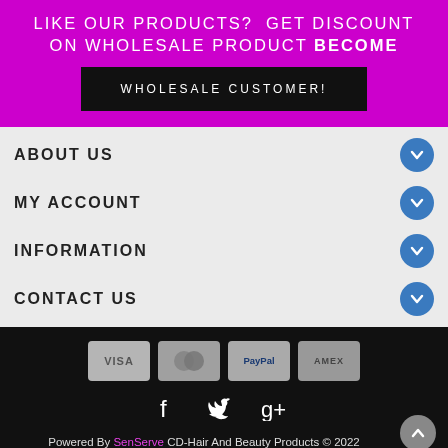LIKE OUR PRODUCTS? GET DISCOUNT ON WHOLESALE PRODUCT BECOME
WHOLESALE CUSTOMER!
ABOUT US
MY ACCOUNT
INFORMATION
CONTACT US
[Figure (other): Payment method icons: VISA, Mastercard, PayPal, AMEX]
[Figure (other): Social media icons: Facebook, Twitter, Google+]
Powered By SenServe CD-Hair And Beauty Products © 2022